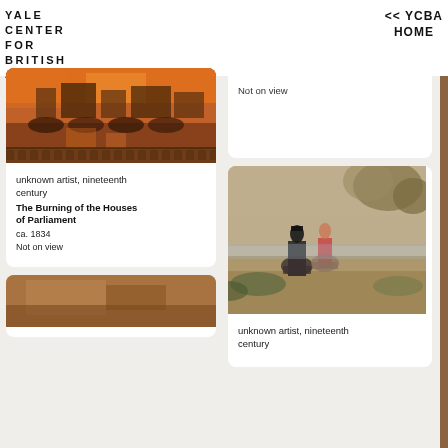YALE CENTER FOR BRITISH ART
<< YCBA HOME
[Figure (photo): Painting of The Burning of the Houses of Parliament, orange and red fiery scene over a river with a bridge]
unknown artist, nineteenth century
The Burning of the Houses of Parliament
ca. 1834
Not on view
Not on view
[Figure (photo): Painting of two figures on horseback in a landscape, muted browns and tans]
unknown artist, nineteenth century
[Figure (photo): Partial painting visible at bottom left, warm tones]